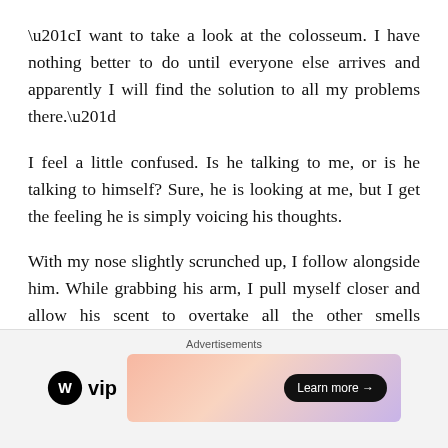“I want to take a look at the colosseum. I have nothing better to do until everyone else arrives and apparently I will find the solution to all my problems there.”
I feel a little confused. Is he talking to me, or is he talking to himself? Sure, he is looking at me, but I get the feeling he is simply voicing his thoughts.
With my nose slightly scrunched up, I follow alongside him. While grabbing his arm, I pull myself closer and allow his scent to overtake all the other smells assaulting my nose. They say that snow has no scent, but Lost smells like snow. It is a comforting fragrance that makes me feel
Advertisements
[Figure (other): WordPress VIP logo on the left and a colorful gradient advertisement banner on the right with a 'Learn more →' button]